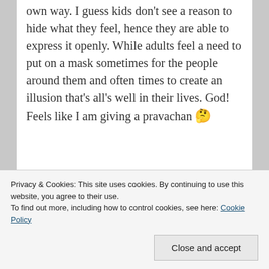own way. I guess kids don't see a reason to hide what they feel, hence they are able to express it openly. While adults feel a need to put on a mask sometimes for the people around them and often times to create an illusion that's all's well in their lives. God! Feels like I am giving a pravachan 🤔
Farreys! Yes. I'll need them very soon.
Privacy & Cookies: This site uses cookies. By continuing to use this website, you agree to their use.
To find out more, including how to control cookies, see here: Cookie Policy